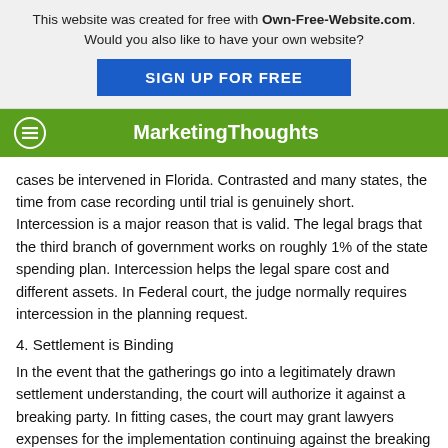This website was created for free with Own-Free-Website.com. Would you also like to have your own website?
SIGN UP FOR FREE
MarketingThoughts
cases be intervened in Florida. Contrasted and many states, the time from case recording until trial is genuinely short. Intercession is a major reason that is valid. The legal brags that the third branch of government works on roughly 1% of the state spending plan. Intercession helps the legal spare cost and different assets. In Federal court, the judge normally requires intercession in the planning request.
4. Settlement is Binding
In the event that the gatherings go into a legitimately drawn settlement understanding, the court will authorize it against a breaking party. In fitting cases, the court may grant lawyers expenses for the implementation continuing against the breaking party.